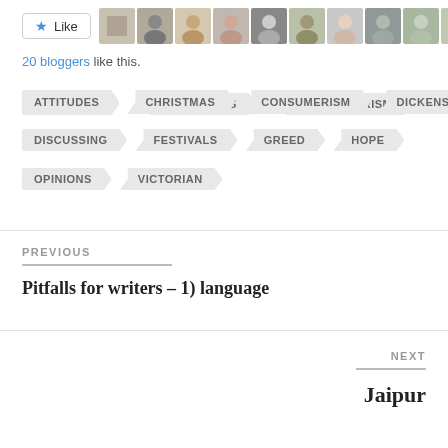[Figure (other): Like button with star icon and row of blogger avatar photos]
20 bloggers like this.
ATTITUDES
CHRISTMAS
CONSUMERISM
DICKENS
DISCUSSING
FESTIVALS
GREED
HOPE
OPINIONS
VICTORIAN
PREVIOUS
Pitfalls for writers – 1) language
NEXT
Jaipur